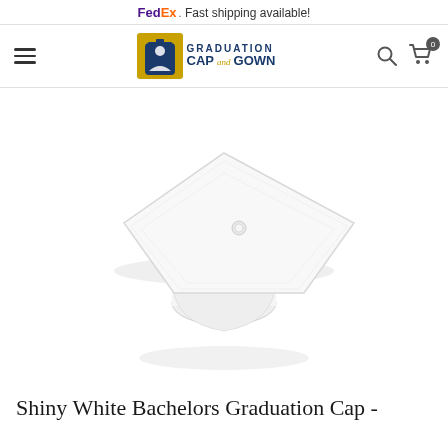FedEx. Fast shipping available!
[Figure (logo): Graduation Cap and Gown website navigation bar with hamburger menu, logo, search icon, and shopping cart icon showing 0 items]
[Figure (photo): Shiny white bachelor graduation mortarboard cap on white background, showing the flat square top with center button and rounded base]
Shiny White Bachelors Graduation Cap -